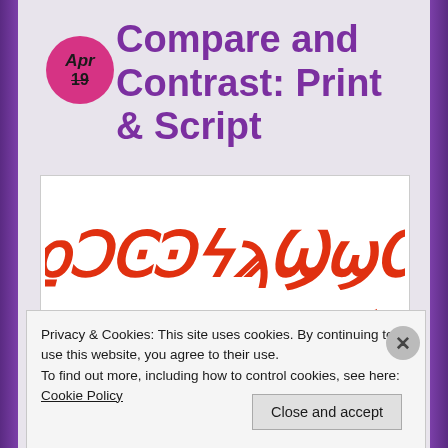Compare and Contrast: Print & Script
[Figure (illustration): Two lines of decorative orange/red script text in an unknown or constructed script style, displayed on a white background panel]
Privacy & Cookies: This site uses cookies. By continuing to use this website, you agree to their use.
To find out more, including how to control cookies, see here: Cookie Policy
Close and accept